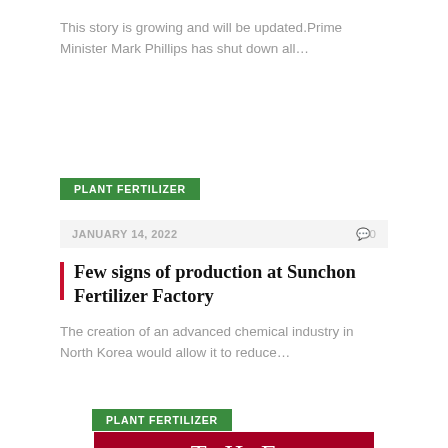This story is growing and will be updated.Prime Minister Mark Phillips has shut down all...
PLANT FERTILIZER
JANUARY 14, 2022   💬0
Few signs of production at Sunchon Fertilizer Factory
The creation of an advanced chemical industry in North Korea would allow it to reduce...
PLANT FERTILIZER
[Figure (logo): The Ohio State University logo on dark red/crimson background showing THE OHIO text in white serif font]